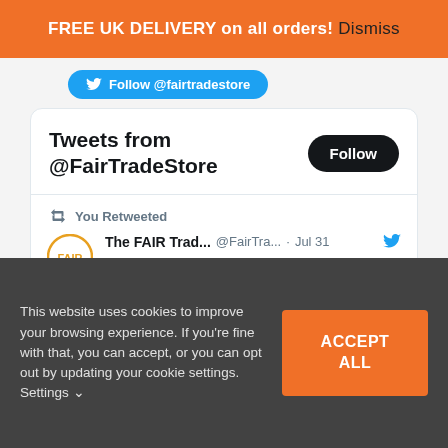FREE UK DELIVERY on all orders! Dismiss
Follow @fairtradestore
Tweets from @FairTradeStore
You Retweeted
The FAIR Trad... @FairTra... · Jul 31
Hang outside your home to attract #bees! Painted bright yellow this hexagonal “Save Our Bees” wooden bughouse is bound to be a real eye-catcher. thefairtradestore.co.uk/product/be
This website uses cookies to improve your browsing experience. If you’re fine with that, you can accept, or you can opt out by updating your cookie settings. Settings ✓
ACCEPT ALL